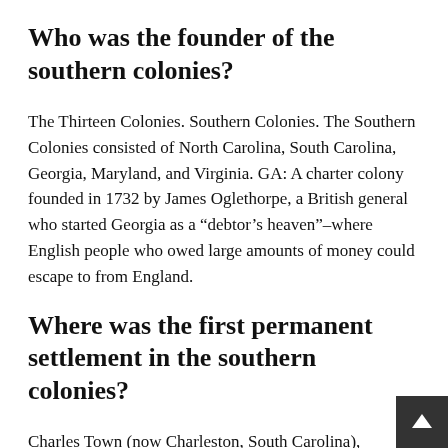Who was the founder of the southern colonies?
The Thirteen Colonies. Southern Colonies. The Southern Colonies consisted of North Carolina, South Carolina, Georgia, Maryland, and Virginia. GA: A charter colony founded in 1732 by James Oglethorpe, a British general who started Georgia as a “debtor’s heaven”–where English people who owed large amounts of money could escape to from England.
Where was the first permanent settlement in the southern colonies?
Charles Town (now Charleston, South Carolina), founded in 1670, was the first permanent English settlement in the province of Carolina. (North Carolina and South Carolina did not become separate provinces until 1712.) Georgia was the last of the 13 colonies